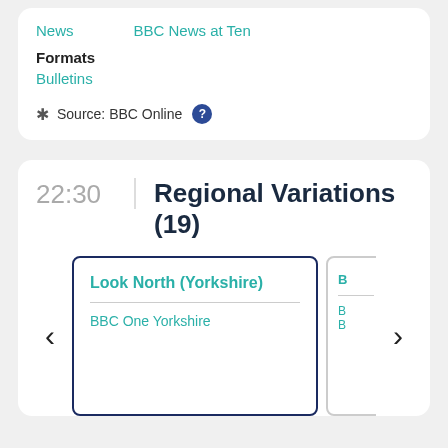News
BBC News at Ten
Formats
Bulletins
Source: BBC Online
22:30
Regional Variations (19)
Look North (Yorkshire)
BBC One Yorkshire